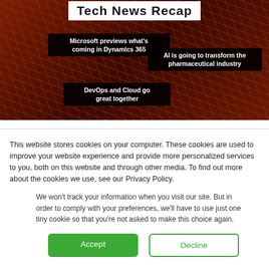[Figure (illustration): Hero banner with dark red code background showing text labels: 'Tech News Recap' title badge in white box, 'Microsoft previews what's coming in Dynamics 365', 'AI is going to transform the pharmaceutical industry', 'DevOps and Cloud go great together']
This website stores cookies on your computer. These cookies are used to improve your website experience and provide more personalized services to you, both on this website and through other media. To find out more about the cookies we use, see our Privacy Policy.
We won't track your information when you visit our site. But in order to comply with your preferences, we'll have to use just one tiny cookie so that you're not asked to make this choice again.
Accept
Decline